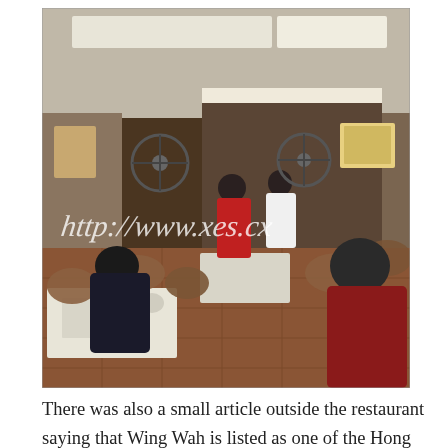[Figure (photo): Interior of a busy Hong Kong restaurant showing diners seated at tables with brown chairs, a tiled floor, ceiling lights, fans, and a watermark reading 'http://www.xes.cx' overlaid on the image.]
There was also a small article outside the restaurant saying that Wing Wah is listed as one of the Hong Kong Michelin Guide Budget Restaurant for 2009 for their culinary expertise in noodles and desserts. It